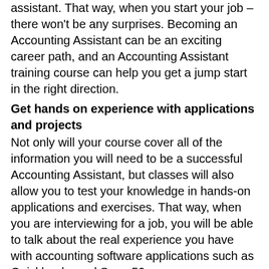assistant. That way, when you start your job – there won't be any surprises. Becoming an Accounting Assistant can be an exciting career path, and an Accounting Assistant training course can help you get a jump start in the right direction.
Get hands on experience with applications and projects
Not only will your course cover all of the information you will need to be a successful Accounting Assistant, but classes will also allow you to test your knowledge in hands-on applications and exercises. That way, when you are interviewing for a job, you will be able to talk about the real experience you have with accounting software applications such as Quickbooks and Sage 50.
Apply to jobs with a competitive edge against other applicants
When you are applying for positions in your chosen